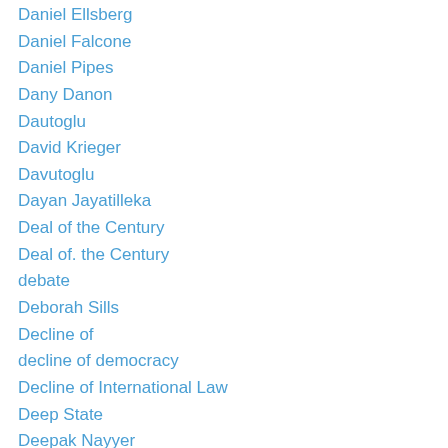Daniel Ellsberg
Daniel Falcone
Daniel Pipes
Dany Danon
Dautoglu
David Krieger
Davutoglu
Dayan Jayatilleka
Deal of the Century
Deal of. the Century
debate
Deborah Sills
Decline of
decline of democracy
Decline of International Law
Deep State
Deepak Nayyer
Defamation
Defamatory Comments
Demagogic Leaders